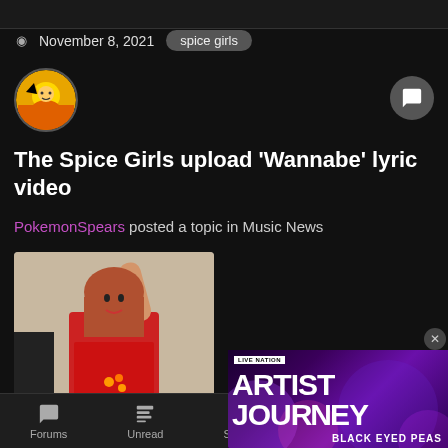November 8, 2021  spice girls
The Spice Girls upload 'Wannabe' lyric video
PokemonSpears posted a topic in Music News
[Figure (photo): Woman in red outfit with arm raised, Spice Girls related image]
October 28, 2021  8 replies
Forums  Unread  Start new
[Figure (advertisement): Live Nation advertisement for Artist Journey featuring Black Eyed Peas]